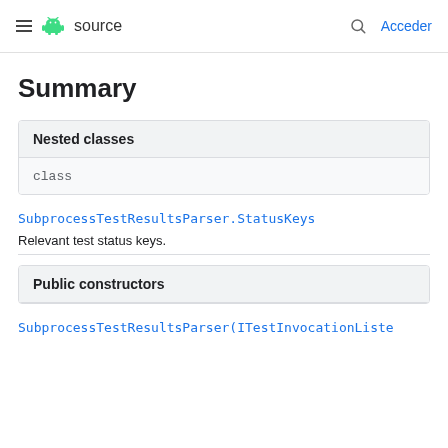≡  source   🔍  Acceder
Summary
| Nested classes |
| --- |
| class | SubprocessTestResultsParser.StatusKeys | Relevant test status keys. |
| Public constructors |
| --- |
| SubprocessTestResultsParser(ITestInvocationListe |